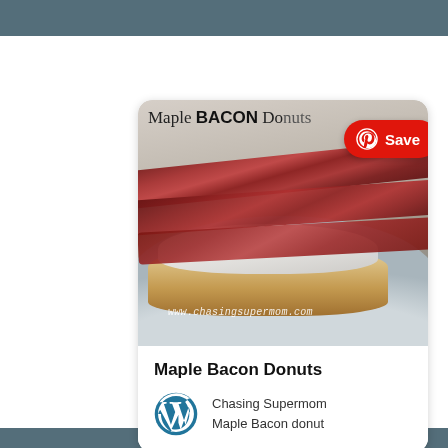[Figure (photo): A Pinterest-style card showing a maple bacon donut with strips of bacon on top of a glazed donut on a plate, with the text 'Maple BACON Donuts' at the top of the image and a red Pinterest Save button. Below the image: title 'Maple Bacon Donuts', WordPress logo icon, source 'Chasing Supermom' and subtitle 'Maple Bacon donut'.]